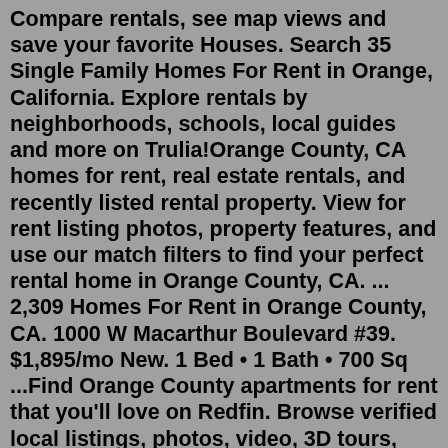Compare rentals, see map views and save your favorite Houses. Search 35 Single Family Homes For Rent in Orange, California. Explore rentals by neighborhoods, schools, local guides and more on Trulia!Orange County, CA homes for rent, real estate rentals, and recently listed rental property. View for rent listing photos, property features, and use our match filters to find your perfect rental home in Orange County, CA. ... 2,309 Homes For Rent in Orange County, CA. 1000 W Macarthur Boulevard #39. $1,895/mo New. 1 Bed • 1 Bath • 700 Sq ...Find Orange County apartments for rent that you'll love on Redfin. Browse verified local listings, photos, video, 3D tours, and more!Orange County, CA vacation rentals near the beach. Vacation Rental Management Real Estate. Company. About Us Leadership Innovation Newsroom Investors Social Responsibility Solutions and Partnerships Blog Careers. Help. Support and Contact Toll Free: +1 800-544-0300 Local: (503) 345-9399.Active adult 55+ communities in Orange County: Wildflowers at